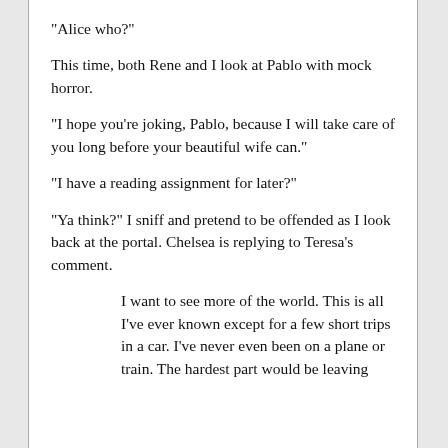"Alice who?"
This time, both Rene and I look at Pablo with mock horror.
"I hope you're joking, Pablo, because I will take care of you long before your beautiful wife can."
"I have a reading assignment for later?"
"Ya think?" I sniff and pretend to be offended as I look back at the portal. Chelsea is replying to Teresa's comment.
I want to see more of the world. This is all I've ever known except for a few short trips in a car. I've never even been on a plane or train. The hardest part would be leaving